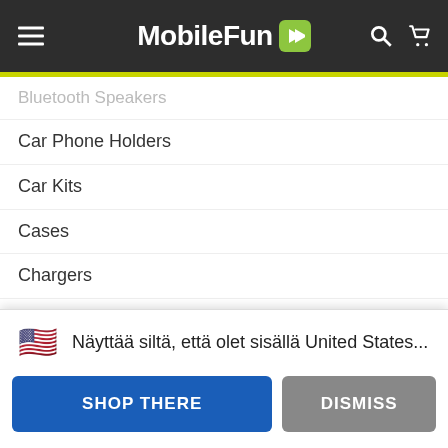MobileFun
Bluetooth Speakers
Car Phone Holders
Car Kits
Cases
Chargers
iPad Cases
iPhone Cases
iPhone Chargers
Screen Protectors
USB C Accessories
View All Accessories
Popular Brands
Olixar
Näyttää siltä, että olet sisällä United States...
SHOP THERE
DISMISS